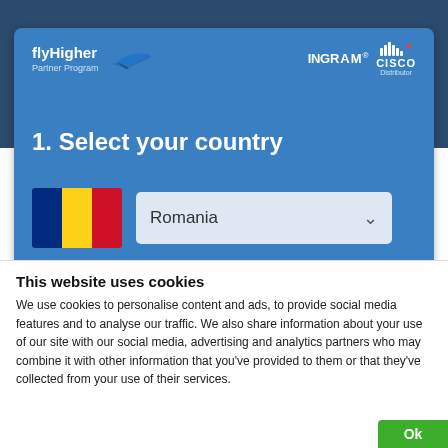[Figure (logo): flyHigher Partner Program logo with Tarom airplane icon, Ingram Micro logo, and Cisco Distributor logo on blue card header]
1. Select your country
[Figure (illustration): Romania flag (blue, yellow, red vertical stripes) next to a dropdown selector showing 'Romania']
This website uses cookies
We use cookies to personalise content and ads, to provide social media features and to analyse our traffic. We also share information about your use of our site with our social media, advertising and analytics partners who may combine it with other information that you've provided to them or that they've collected from your use of their services.